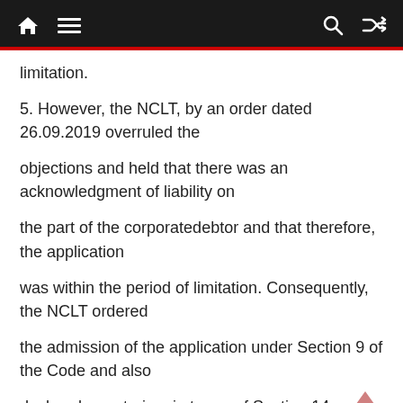limitation.
5. However, the NCLT, by an order dated 26.09.2019 overruled the
objections and held that there was an acknowledgment of liability on
the part of the corporatedebtor and that therefore, the application
was within the period of limitation. Consequently, the NCLT ordered
the admission of the application under Section 9 of the Code and also
declared moratorium in terms of Section 14.